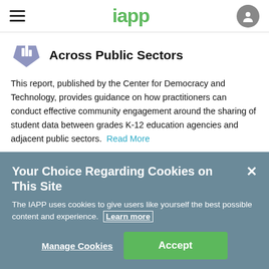iapp
Across Public Sectors
This report, published by the Center for Democracy and Technology, provides guidance on how practitioners can conduct effective community engagement around the sharing of student data between grades K-12 education agencies and adjacent public sectors.  Read More
Your Choice Regarding Cookies on This Site
The IAPP uses cookies to give users like yourself the best possible content and experience.  Learn more
Manage Cookies   Accept